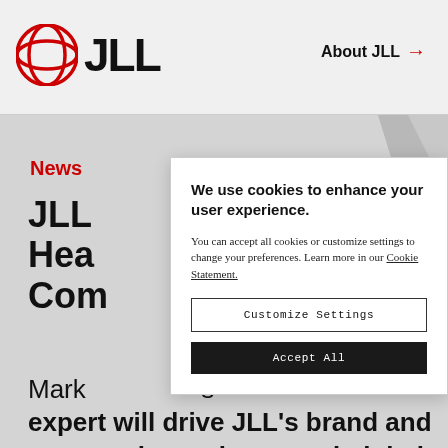JLL | About JLL →
News
JLL ... ard Hea... Com...
Mark... s expert will drive JLL's brand and purpose in newly created global ...
We use cookies to enhance your user experience.

You can accept all cookies or customize settings to change your preferences. Learn more in our Cookie Statement.
Customize Settings
Accept All